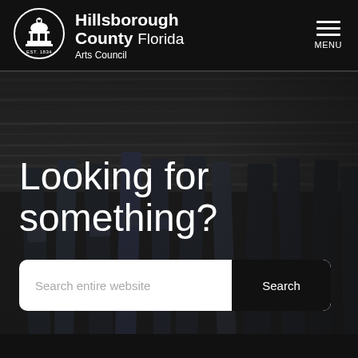[Figure (logo): Hillsborough County Florida Arts Council logo: white circle with domed building illustration and EST. 1834 text]
Hillsborough County Florida Arts Council
[Figure (other): Hamburger menu icon with three horizontal white lines and MENU label below]
[Figure (photo): Dark background photo of paint brushes arranged on dark wood surface, viewed from above]
Looking for something?
Search entire website
Search